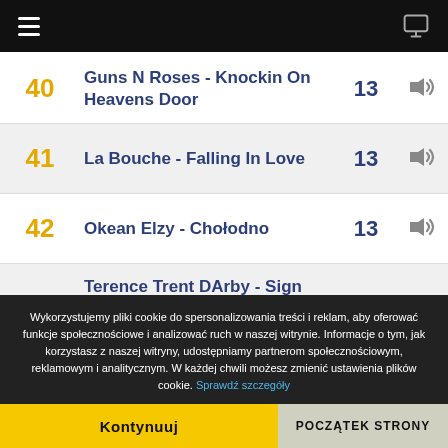Navigation menu | Monitor icon
40 Guns N Roses - Knockin On Heavens Door 13
41 La Bouche - Falling In Love 13
42 Okean Elzy - Chołodno 13
43 Terence Trent DArby - Sign Your Name 13
Wykorzystujemy pliki cookie do spersonalizowania treści i reklam, aby oferować funkcje społecznościowe i analizować ruch w naszej witrynie. Informacje o tym, jak korzystasz z naszej witryny, udostępniamy partnerom społecznościowym, reklamowym i analitycznym. W każdej chwili możesz zmienić ustawienia plików cookie. Sprawdź szczegóły
Kontynuuj | POCZĄTEK STRONY